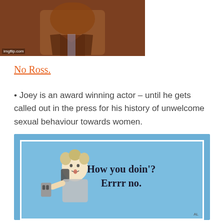[Figure (photo): Two-panel photo strip showing a man in a brown suit on the left, and a red book or object on the right. Watermark 'imgflip.com' visible in bottom left.]
No Ross.
• Joey is an award winning actor – until he gets called out in the press for his history of unwelcome sexual behaviour towards women.
[Figure (illustration): Blue-background meme card with a retro illustration of a woman on a telephone looking surprised. Text reads: 'How you doin'? Errrr no.']